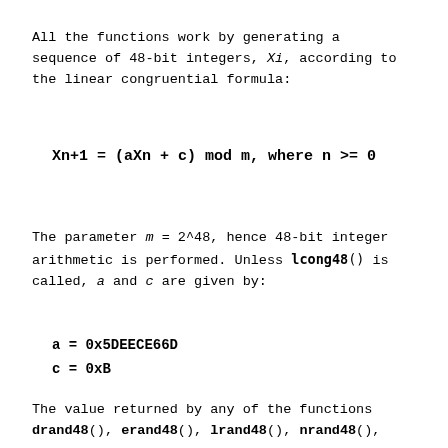All the functions work by generating a sequence of 48-bit integers, Xi, according to the linear congruential formula:
The parameter m = 2^48, hence 48-bit integer arithmetic is performed. Unless lcong48() is called, a and c are given by:
The value returned by any of the functions drand48(), erand48(), lrand48(), nrand48(),